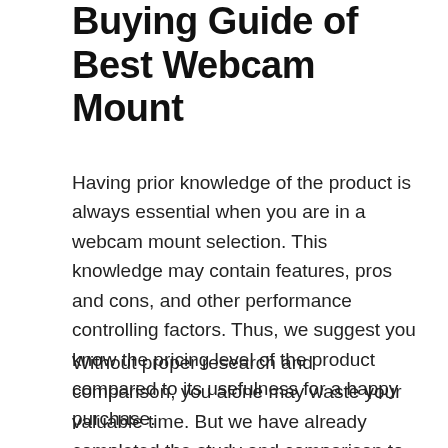Buying Guide of Best Webcam Mount
Having prior knowledge of the product is always essential when you are in a webcam mount selection. This knowledge may contain features, pros and cons, and other performance controlling factors. Thus, we suggest you know the pricing level of the product compared to its usefulness for a happy purchase.
Without proper research and comparison, you alone may waste your valuable time. But we have already completed the study and comparison to help you save time for other chores. You can buy the right webcam mount within the shortest possible time with the help of our suggestions.